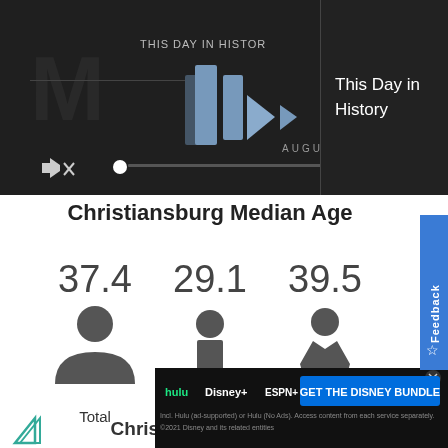[Figure (screenshot): Video player showing 'This Day in History' with play button, mute icon, progress bar, and fullscreen icon on dark background]
This Day in History
Christiansburg Median Age
[Figure (infographic): Three columns showing median age statistics: Total 37.4, Male 29.1, Female 39.5, each with a person silhouette icon]
Total
Male
Female
Christiansburg Adults
[Figure (screenshot): Disney Bundle advertisement banner with Hulu, Disney+, ESPN+ logos and GET THE DISNEY BUNDLE button]